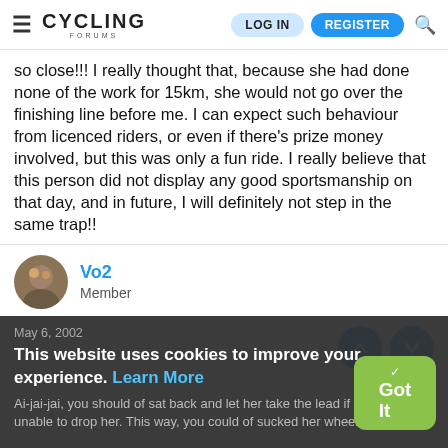CYCLING FORUMS | LOG IN | REGISTER
so close!!! I really thought that, because she had done none of the work for 15km, she would not go over the finishing line before me. I can expect such behaviour from licenced riders, or even if there's prize money involved, but this was only a fun ride. I really believe that this person did not display any good sportsmanship on that day, and in future, I will definitely not step in the same trap!!
Vo2
Member
May 6, 2002
This website uses cookies to improve your experience. Learn More
Ai-jai-jai, you should of sat back and let her take the lead if you were unable to drop her. This way, you could of sucked her wheel instead.
Got It